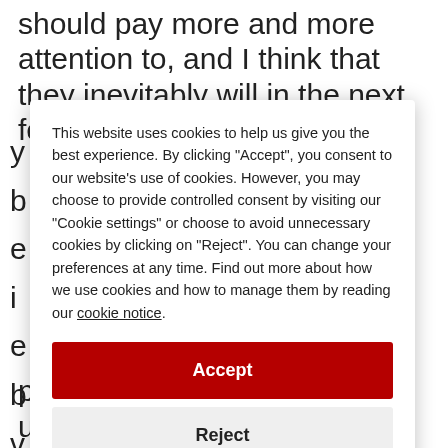should pay more and more attention to, and I think that they inevitably will in the next few
y
b
e
i
e
b
v
b
a
b
s
b
b
c
This website uses cookies to help us give you the best experience. By clicking "Accept", you consent to our website's use of cookies. However, you may choose to provide controlled consent by visiting our "Cookie settings" or choose to avoid unnecessary cookies by clicking on "Reject". You can change your preferences at any time. Find out more about how we use cookies and how to manage them by reading our cookie notice.
Accept
Reject
Cookie settings
possibilities that were unknown until that